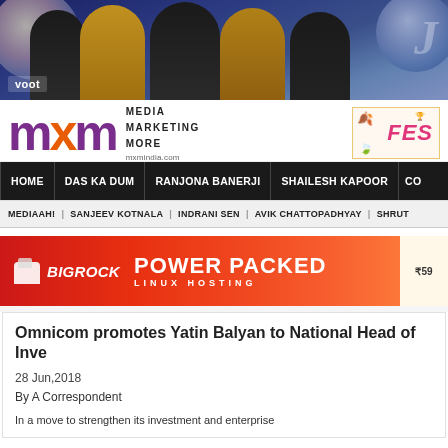[Figure (photo): Voot banner advertisement showing celebrities in golden outfits against a disco ball background]
[Figure (logo): MXM India logo with purple text and orange X, tagline MEDIA MARKETING MORE, url mxmindia.com, with a festival advertisement on the right]
HOME | DAS KA DUM | RANJONA BANERJI | SHAILESH KAPOOR | CO...
MEDIAAH! | SANJEEV KOTNALA | INDRANI SEN | AVIK CHATTOPADHYAY | SHRUT...
[Figure (other): BigRock advertisement - POWER PACKED LINUX HOSTING at ₹59]
Omnicom promotes Yatin Balyan to National Head of Inve...
28 Jun,2018
By A Correspondent
In a move to strengthen its investment and enterprise...